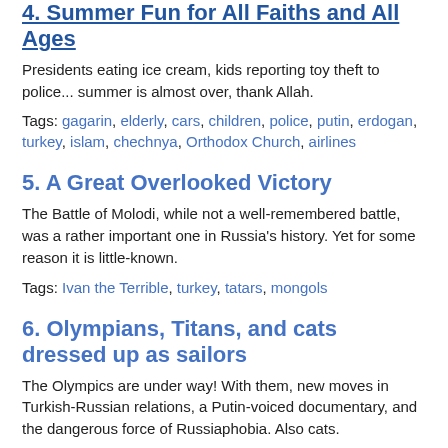4. Summer Fun for All Faiths and All Ages
Presidents eating ice cream, kids reporting toy theft to police... summer is almost over, thank Allah.
Tags: gagarin, elderly, cars, children, police, putin, erdogan, turkey, islam, chechnya, Orthodox Church, airlines
5. A Great Overlooked Victory
The Battle of Molodi, while not a well-remembered battle, was a rather important one in Russia’s history. Yet for some reason it is little-known.
Tags: Ivan the Terrible, turkey, tatars, mongols
6. Olympians, Titans, and cats dressed up as sailors
The Olympics are under way! With them, new moves in Turkish-Russian relations, a Putin-voiced documentary, and the dangerous force of Russiaphobia. Also cats.